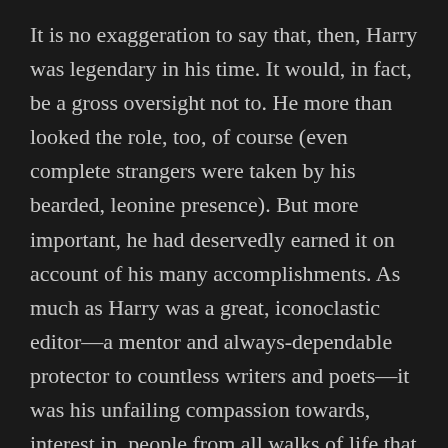It is no exaggeration to say that, then, Harry was legendary in his time. It would, in fact, be a gross oversight not to. He more than looked the role, too, of course (even complete strangers were taken by his bearded, leonine presence). But more important, he had deservedly earned it on account of his many accomplishments. As much as Harry was a great, iconoclastic editor—a mentor and always-dependable protector to countless writers and poets—it was his unfailing compassion towards, interest in, people from all walks of life that distinguishes and makes great his memory.
Much of Harry's poetry (he published well over a dozen books of it in his lifetime) is often times lyrical, but he lived epically. He was naturally given, then, to publishing uncompromising avowals and manifestoes—as much to be...